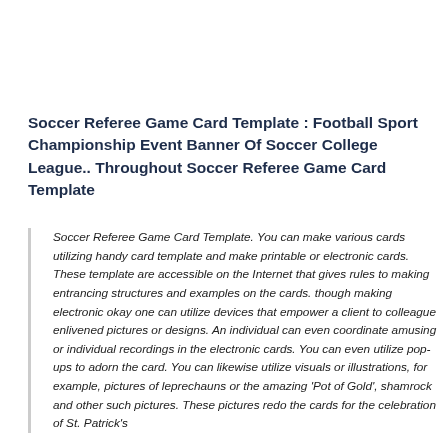Soccer Referee Game Card Template : Football Sport Championship Event Banner Of Soccer College League.. Throughout Soccer Referee Game Card Template
Soccer Referee Game Card Template. You can make various cards utilizing handy card template and make printable or electronic cards. These template are accessible on the Internet that gives rules to making entrancing structures and examples on the cards. though making electronic okay one can utilize devices that empower a client to colleague enlivened pictures or designs. An individual can even coordinate amusing or individual recordings in the electronic cards. You can even utilize pop-ups to adorn the card. You can likewise utilize visuals or illustrations, for example, pictures of leprechauns or the amazing 'Pot of Gold', shamrock and other such pictures. These pictures redo the cards for the celebration of St. Patrick's